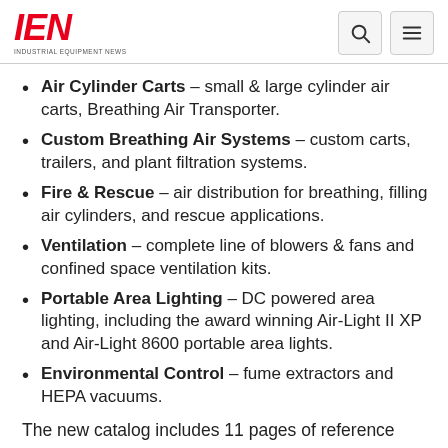IEN — INDUSTRIAL EQUIPMENT NEWS
Air Cylinder Carts – small & large cylinder air carts, Breathing Air Transporter.
Custom Breathing Air Systems – custom carts, trailers, and plant filtration systems.
Fire & Rescue – air distribution for breathing, filling air cylinders, and rescue applications.
Ventilation – complete line of blowers & fans and confined space ventilation kits.
Portable Area Lighting – DC powered area lighting, including the award winning Air-Light II XP and Air-Light 8600 portable area lights.
Environmental Control – fume extractors and HEPA vacuums.
The new catalog includes 11 pages of reference